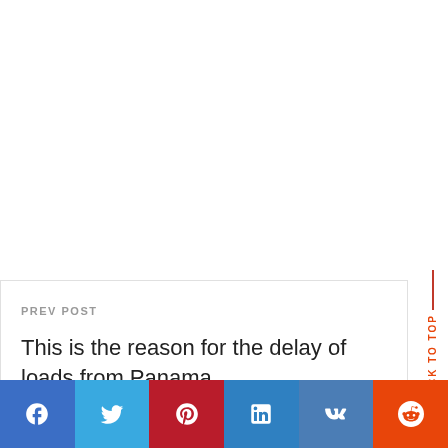PREV POST
This is the reason for the delay of loads from Panama
BACK TO TOP